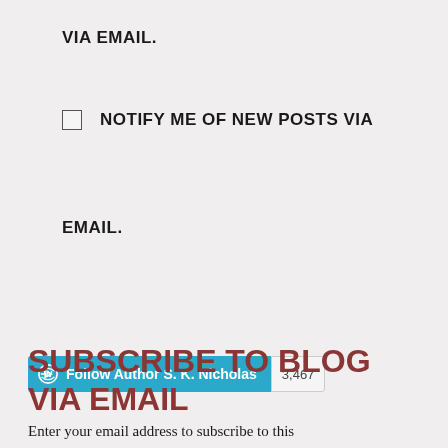VIA EMAIL.
NOTIFY ME OF NEW POSTS VIA EMAIL.
[Figure (other): WordPress Follow Author button for S. K. Nicholas with follower count of 3,467]
SUBSCRIBE TO BLOG VIA EMAIL
Enter your email address to subscribe to this